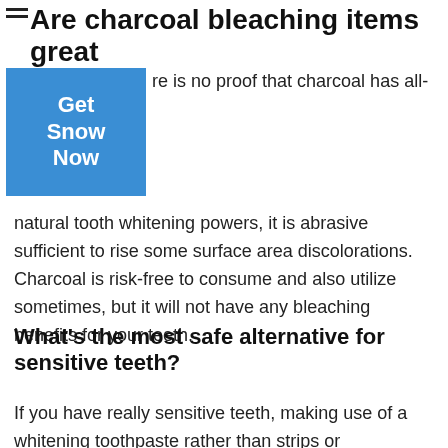Are charcoal bleaching items great for teeth?
[Figure (other): Blue button with text 'Get Snow Now']
There is no proof that charcoal has all-natural tooth whitening powers, it is abrasive sufficient to rise some surface area discolorations. Charcoal is risk-free to consume and also utilize sometimes, but it will not have any bleaching benefits for your teeth.
What’s the most safe alternative for sensitive teeth?
If you have really sensitive teeth, making use of a whitening toothpaste rather than strips or